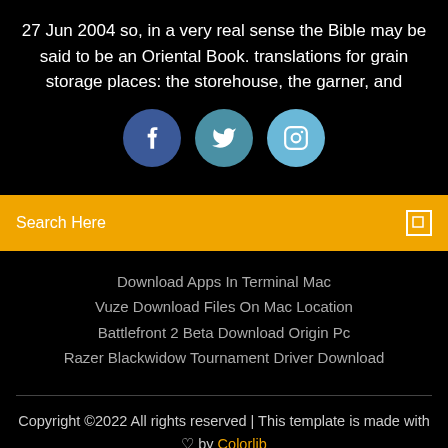27 Jun 2004 so, in a very real sense the Bible may be said to be an Oriental Book. translations for grain storage places: the storehouse, the garner, and
[Figure (other): Three social media icon circles: Facebook (dark blue), Twitter (teal-blue), Instagram (light blue), each with white icon]
Search Here
Download Apps In Terminal Mac
Vuze Download Files On Mac Location
Battlefront 2 Beta Download Origin Pc
Razer Blackwidow Tournament Driver Download
Copyright ©2022 All rights reserved | This template is made with ♡ by Colorlib